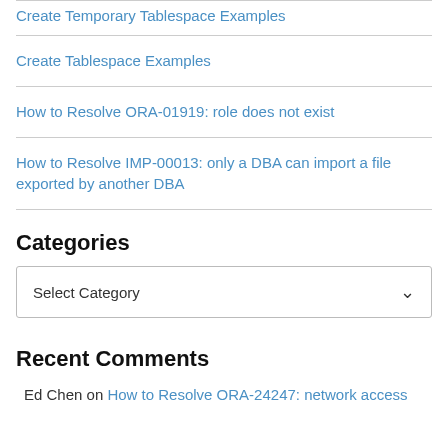Create Temporary Tablespace Examples
Create Tablespace Examples
How to Resolve ORA-01919: role does not exist
How to Resolve IMP-00013: only a DBA can import a file exported by another DBA
Categories
Select Category
Recent Comments
Ed Chen on How to Resolve ORA-24247: network access